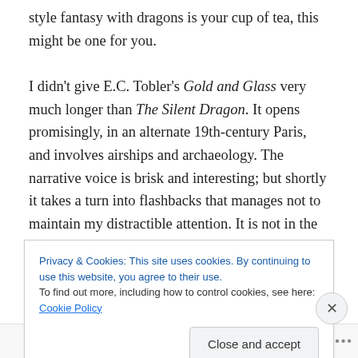style fantasy with dragons is your cup of tea, this might be one for you.

I didn't give E.C. Tobler's Gold and Glass very much longer than The Silent Dragon. It opens promisingly, in an alternate 19th-century Paris, and involves airships and archaeology. The narrative voice is brisk and interesting; but shortly it takes a turn into flashbacks that manages not to maintain my distractible attention. It is not in the novel's favour with me that its protagonist (or her father) is supposed to be from Dublin: I have made it a habit to
Privacy & Cookies: This site uses cookies. By continuing to use this website, you agree to their use.
To find out more, including how to control cookies, see here: Cookie Policy
Follow ...